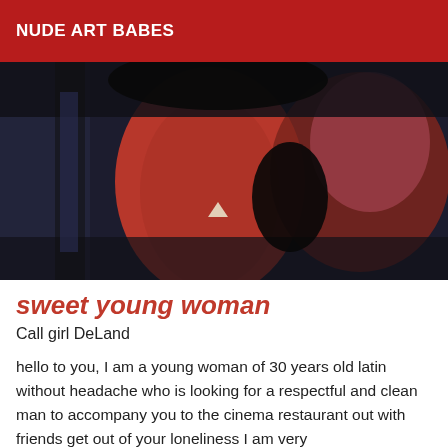NUDE ART BABES
[Figure (photo): Close-up blurry photograph showing abstract red, dark navy/black, and maroon tones, possibly fabric or body parts, with a small white triangular highlight.]
sweet young woman
Call girl DeLand
hello to you, I am a young woman of 30 years old latin without headache who is looking for a respectful and clean man to accompany you to the cinema restaurant out with friends get out of your loneliness I am very